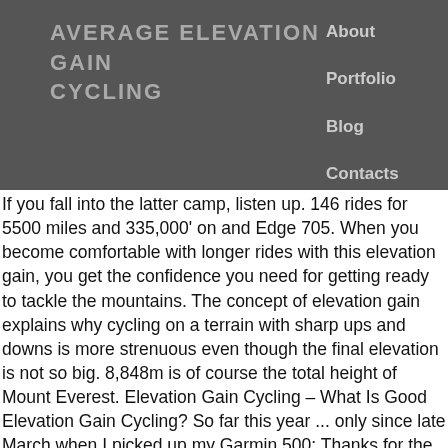AVERAGE ELEVATION GAIN CYCLING
About
Portfolio
Blog
Contacts
If you fall into the latter camp, listen up. 146 rides for 5500 miles and 335,000' on and Edge 705. When you become comfortable with longer rides with this elevation gain, you get the confidence you need for getting ready to tackle the mountains. The concept of elevation gain explains why cycling on a terrain with sharp ups and downs is more strenuous even though the final elevation is not so big. 8,848m is of course the total height of Mount Everest. Elevation Gain Cycling – What Is Good Elevation Gain Cycling? So far this year ... only since late March when I picked up my Garmin 500: Thanks for the replies. Take for example stage 8 - hilly according to the Tour de France